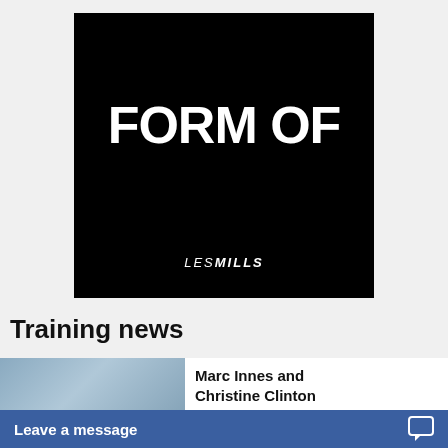[Figure (logo): Black square image with bold white text reading 'FORM OF' and 'LESMILLS' italic logo at the bottom center]
Training news
[Figure (photo): Blue-grey gradient photo thumbnail on the left side of a news card]
Marc Innes and Christine Clinton
Leave a message